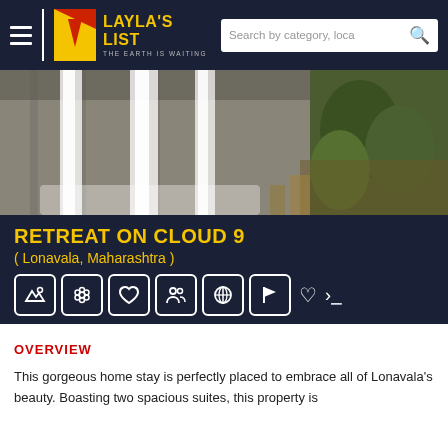Layla's List — The Earth Is Waiting
[Figure (photo): Waterfall cascading down rocky cliff face with green vegetation on the right side]
RETREAT ON CLOUD 9
( Lonavala, Maharashtra )
[Figure (infographic): Row of icon buttons: landscape, nature/flowers, heart, people/group, globe, flag, heart outline, share]
OVERVIEW
This gorgeous home stay is perfectly placed to embrace all of Lonavala's beauty. Boasting two spacious suites, this property is